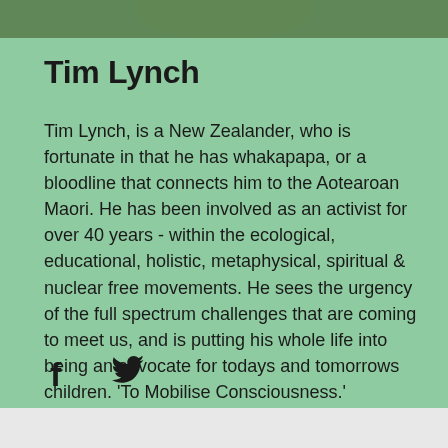[Figure (photo): Photo strip at top of green card, showing partial image of Tim Lynch with green foliage tones]
Tim Lynch
Tim Lynch, is a New Zealander, who is fortunate in that he has whakapapa, or a bloodline that connects him to the Aotearoan Maori. He has been involved as an activist for over 40 years - within the ecological, educational, holistic, metaphysical, spiritual & nuclear free movements. He sees the urgency of the full spectrum challenges that are coming to meet us, and is putting his whole life into being an advocate for todays and tomorrows children. 'To Mobilise Consciousness.'
[Figure (logo): Facebook and Twitter social media icons]